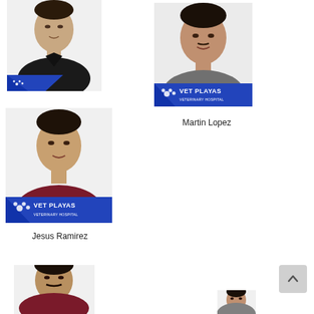[Figure (photo): Headshot of a man in a black V-neck shirt, white background, with a diagonal blue banner at bottom left]
[Figure (photo): Headshot of Martin Lopez in a gray shirt, with a Vet Playas Veterinary Hospital blue banner overlay at bottom]
Martin Lopez
[Figure (photo): Headshot of Jesus Ramirez in a maroon/burgundy scrub top, with a Vet Playas Veterinary Hospital blue banner overlay at bottom]
Jesus Ramirez
[Figure (photo): Partial headshot of a man in a maroon scrub top with mustache]
[Figure (photo): Small partial headshot of a person, bottom right]
[Figure (other): Back-to-top arrow button, light gray rounded square]